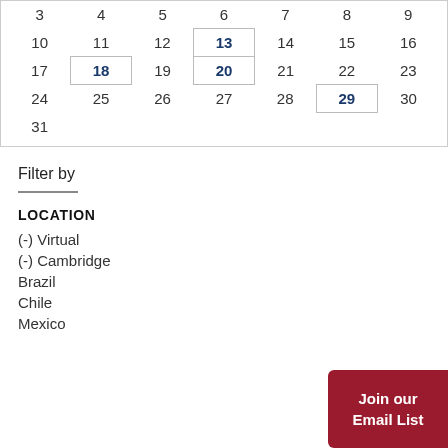| Sun | Mon | Tue | Wed | Thu | Fri | Sat |
| --- | --- | --- | --- | --- | --- | --- |
| 3 | 4 | 5 | 6 | 7 | 8 | 9 |
| 10 | 11 | 12 | 13 | 14 | 15 | 16 |
| 17 | 18 | 19 | 20 | 21 | 22 | 23 |
| 24 | 25 | 26 | 27 | 28 | 29 | 30 |
| 31 |  |  |  |  |  |  |
Filter by
LOCATION
(-) Virtual
(-) Cambridge
Brazil
Chile
Mexico
Join our Email List